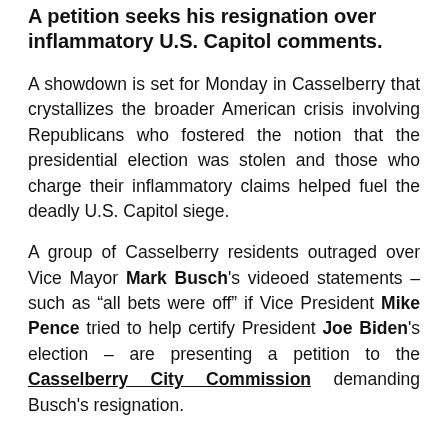A petition seeks his resignation over inflammatory U.S. Capitol comments.
A showdown is set for Monday in Casselberry that crystallizes the broader American crisis involving Republicans who fostered the notion that the presidential election was stolen and those who charge their inflammatory claims helped fuel the deadly U.S. Capitol siege.
A group of Casselberry residents outraged over Vice Mayor Mark Busch's videoed statements — such as "all bets were off" if Vice President Mike Pence tried to help certify President Joe Biden's election — are presenting a petition to the Casselberry City Commission demanding Busch's resignation.